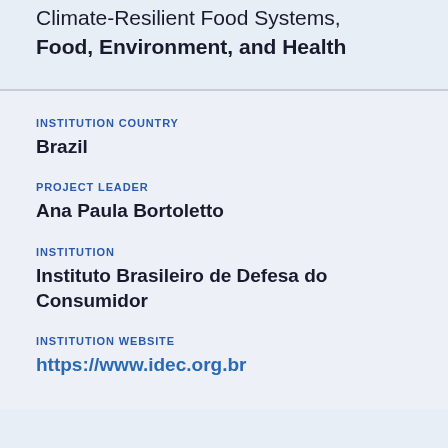Climate-Resilient Food Systems, Food, Environment, and Health
INSTITUTION COUNTRY
Brazil
PROJECT LEADER
Ana Paula Bortoletto
INSTITUTION
Instituto Brasileiro de Defesa do Consumidor
INSTITUTION WEBSITE
https://www.idec.org.br